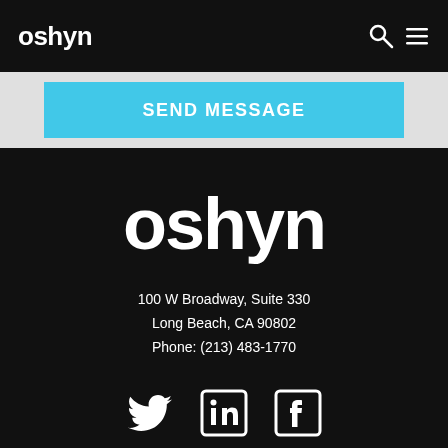oshyn
SEND MESSAGE
[Figure (logo): oshyn logo in white text on black background]
100 W Broadway, Suite 330
Long Beach, CA 90802
Phone: (213) 483-1770
[Figure (illustration): Social media icons: Twitter bird, LinkedIn square, Facebook square, and a partial icon at bottom]